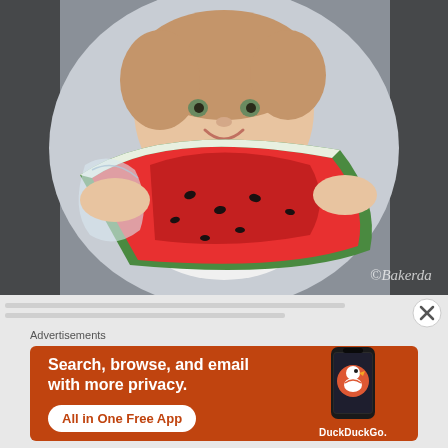[Figure (photo): A young child sitting in a stroller, smiling and holding a large slice of watermelon up to eat. The child has light brown hair and is wearing a white shirt. There is a watermark reading '©Bakerda' in the bottom right corner of the photo.]
(blurred/obscured text strip)
[Figure (infographic): DuckDuckGo advertisement banner with orange background. Text reads: 'Search, browse, and email with more privacy. All in One Free App'. Shows a smartphone with the DuckDuckGo duck logo and 'DuckDuckGo.' text below.]